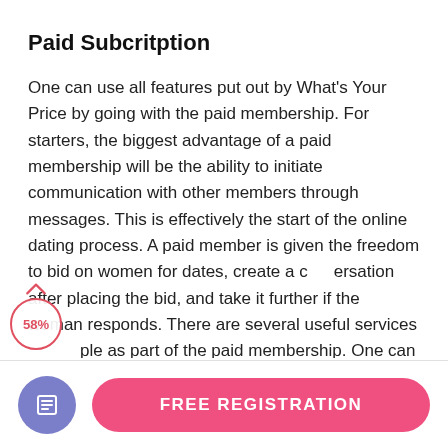Paid Subcritption
One can use all features put out by What's Your Price by going with the paid membership. For starters, the biggest advantage of a paid membership will be the ability to initiate communication with other members through messages. This is effectively the start of the online dating process. A paid member is given the freedom to bid on women for dates, create a conversation after placing the bid, and take it further if the woman responds. There are several useful services available as part of the paid membership. One can make bids and purchase manual credits.
[Figure (infographic): Scroll position indicator with upward chevron arrow and a circle showing 58% progress]
FREE REGISTRATION